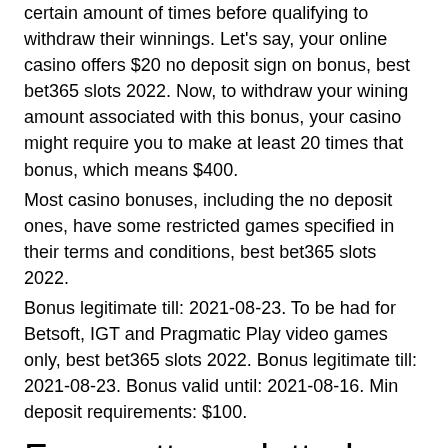certain amount of times before qualifying to withdraw their winnings. Let's say, your online casino offers $20 no deposit sign on bonus, best bet365 slots 2022. Now, to withdraw your wining amount associated with this bonus, your casino might require you to make at least 20 times that bonus, which means $400.
Most casino bonuses, including the no deposit ones, have some restricted games specified in their terms and conditions, best bet365 slots 2022.
Bonus legitimate till: 2021-08-23. To be had for Betsoft, IGT and Pragmatic Play video games only, best bet365 slots 2022. Bonus legitimate till: 2021-08-23. Bonus valid until: 2021-08-16. Min deposit requirements: $100.
Free pattern slotted wood mice
Bet365 is a one-stop hub for anything related